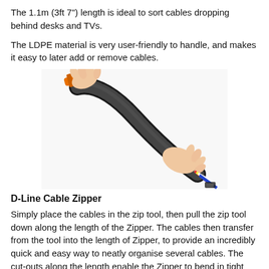The 1.1m (3ft 7") length is ideal to sort cables dropping behind desks and TVs.
The LDPE material is very user-friendly to handle, and makes it easy to later add or remove cables.
[Figure (photo): Two hands holding a black spiral cable wrap/zipper sleeve bundling multiple cables including USB and AV cables, with an orange zip tool at the top.]
D-Line Cable Zipper
Simply place the cables in the zip tool, then pull the zip tool down along the length of the Zipper. The cables then transfer from the tool into the length of Zipper, to provide an incredibly quick and easy way to neatly organise several cables. The cut-outs along the length enable the Zipper to bend in tight radii. The Cable Zipper is a popular solution for